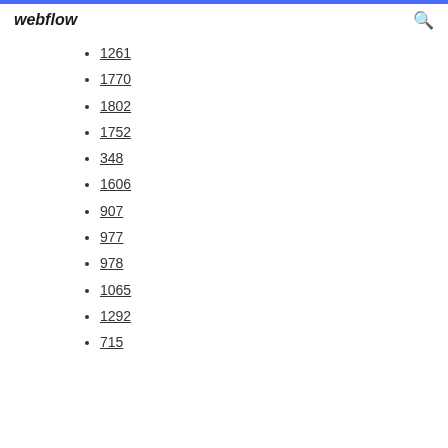webflow
1261
1770
1802
1752
348
1606
907
977
978
1065
1292
715